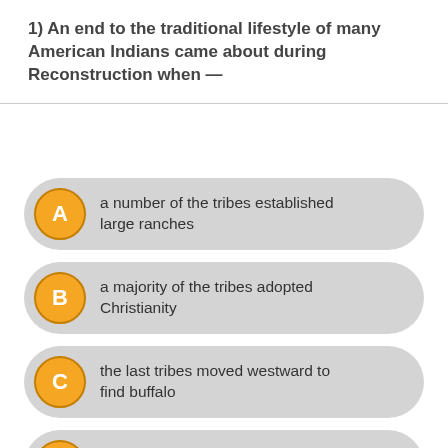1) An end to the traditional lifestyle of many American Indians came about during Reconstruction when —
A  a number of the tribes established large ranches
B  a majority of the tribes adopted Christianity
C  the last tribes moved westward to find buffalo
D  the last bands of tribes were moved to reservations